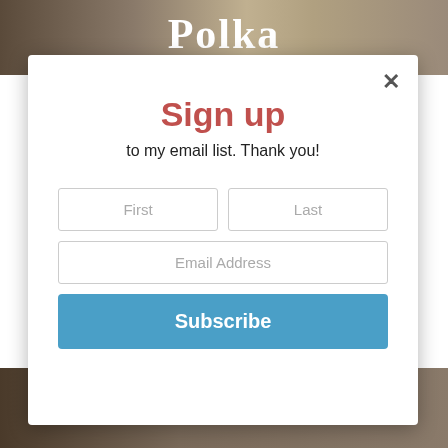[Figure (screenshot): Background image showing musicians playing music, partially visible behind modal. Text 'Polka' visible at top in white serif font.]
Sign up
to my email list. Thank you!
First
Last
Email Address
Subscribe